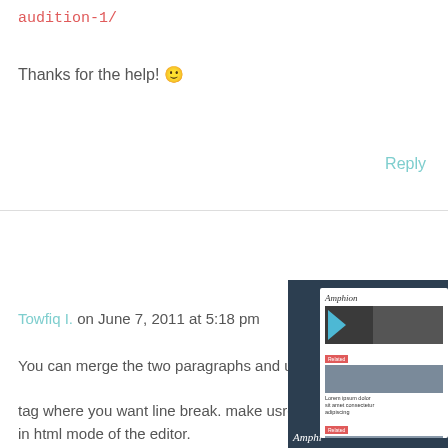audition-1/
Thanks for the help! 🙂
Reply
Towfiq I. on June 7, 2011 at 5:18 pm
You can merge the two paragraphs and use
tag where you want line break. make usre y in html mode of the editor.
jeisenbergfanpage on June 11, 2011 at 9:01 am
I'm having the same problem. Already tried merging paragraphs many times. It works only in the single
[Figure (screenshot): Screenshot of a website called Amphion overlaying the right side of the page, showing dark navy background panel with a white inner content area displaying blog post thumbnails and captions.]